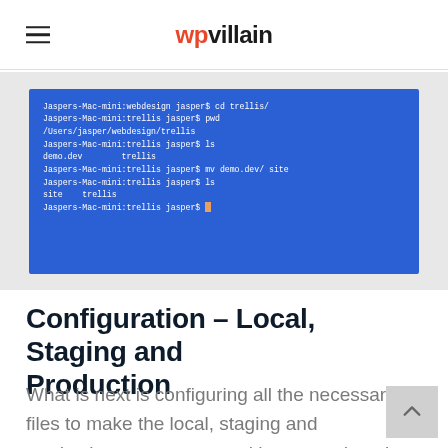wpvillain
[Figure (screenshot): Terminal window with blue background showing command-line output: cd trellis/, pwd, /Users/jasper/webdesign/trellis, ls showing demo.dev and trellis, mv demo.dev/ site, ls showing site and trellis, and a final prompt with cursor.]
Configuration – Local, Staging and Production
What is next is configuring all the necessary files to make the local, staging and production setup correct with correct domain names, admin user and password, MySQL password